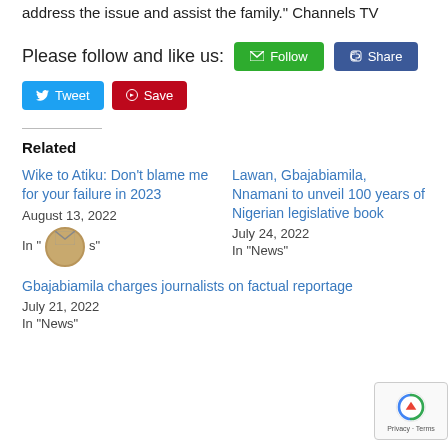address the issue and assist the family." Channels TV
Please follow and like us: [Follow] [Share] [Tweet] [Save]
Related
Wike to Atiku: Don’t blame me for your failure in 2023
August 13, 2022
In "News"
Lawan, Gbajabiamila, Nnamani to unveil 100 years of Nigerian legislative book
July 24, 2022
In "News"
Gbajabiamila charges journalists on factual reportage
July 21, 2022
In "News"